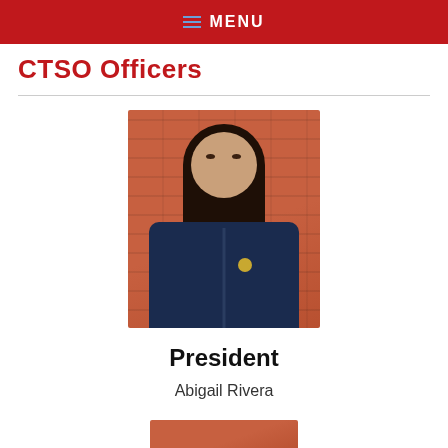MENU
CTSO Officers
[Figure (photo): Portrait photo of Abigail Rivera wearing a navy blue FFA jacket, standing in front of an orange/red brick wall]
President
Abigail Rivera
[Figure (photo): Partial view of a second photo (bottom of page, cropped) showing an orange/red background]